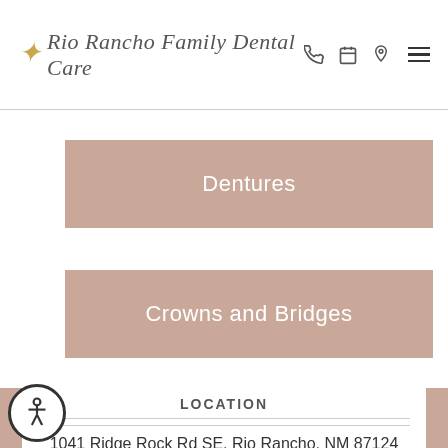Rio Rancho Family Dental Care
Dentures
Crowns and Bridges
OUR LOCATION
LOCATION
1041 Ridge Rock Rd SE, Rio Rancho, NM 87124
Phone: (505) 891-4510